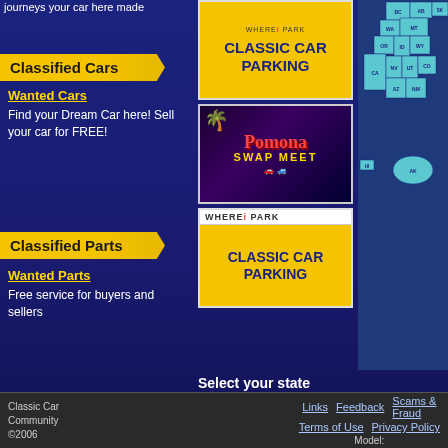journeys your car here made
Classified Cars
Wanted Cars
Find your Dream Car here! Sell your car for FREE!
Classified Parts
Wanted Parts
Free service for buyers and sellers
[Figure (illustration): Classic Car Parking advertisement with orange background]
[Figure (illustration): Pomona Swap Meet advertisement with custom car artwork]
[Figure (illustration): WhereIPark Classic Car Parking advertisement]
[Figure (map): Map of western United States and Canada with state/province labels including BC, AB, SK, WA, MT, OR, ID, WY, CA, NV, UT, CO, AZ, NM, HI, AK]
Select your state
Michiana Cruisers
The Michiana Cruisers are big supporters of the weekly cruise nights. Come out and join us and
Classic Car Community ©2006    Links  Feedback  Scams & Fraud  Terms of Use  Privacy Policy  Model: